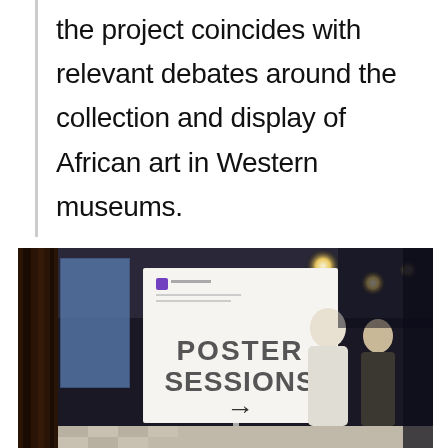the project coincides with relevant debates around the collection and display of African art in Western museums.
[Figure (photo): A conference or exhibition venue showing a white sign on a stand reading 'POSTER SESSIONS' with a right-pointing arrow, in a dimly lit room with people in the background.]